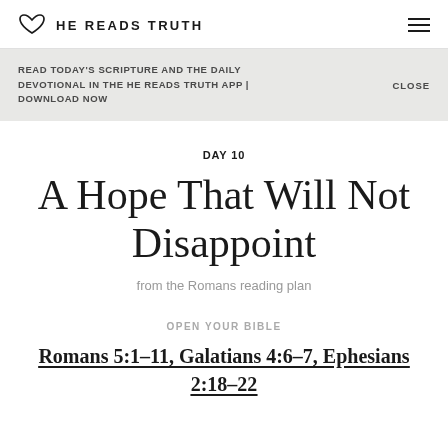HE READS TRUTH
READ TODAY'S SCRIPTURE AND THE DAILY DEVOTIONAL IN THE HE READS TRUTH APP | DOWNLOAD NOW  CLOSE
DAY 10
A Hope That Will Not Disappoint
from the Romans reading plan
OPEN YOUR BIBLE
Romans 5:1-11, Galatians 4:6-7, Ephesians 2:18-22